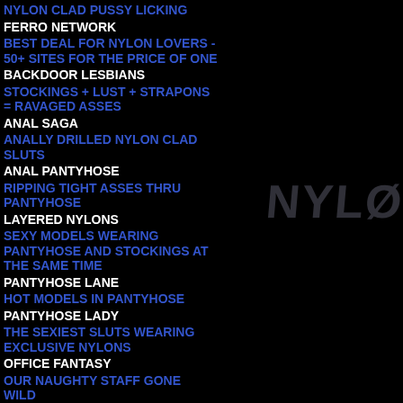NYLON CLAD PUSSY LICKING
FERRO NETWORK
BEST DEAL FOR NYLON LOVERS - 50+ SITES FOR THE PRICE OF ONE
BACKDOOR LESBIANS
STOCKINGS + LUST + STRAPONS = RAVAGED ASSES
ANAL SAGA
ANALLY DRILLED NYLON CLAD SLUTS
ANAL PANTYHOSE
RIPPING TIGHT ASSES THRU PANTYHOSE
LAYERED NYLONS
SEXY MODELS WEARING PANTYHOSE AND STOCKINGS AT THE SAME TIME
PANTYHOSE LANE
HOT MODELS IN PANTYHOSE
PANTYHOSE LADY
THE SEXIEST SLUTS WEARING EXCLUSIVE NYLONS
OFFICE FANTASY
OUR NAUGHTY STAFF GONE WILD
[Figure (logo): Watermark text reading NYLON partially visible on right side]